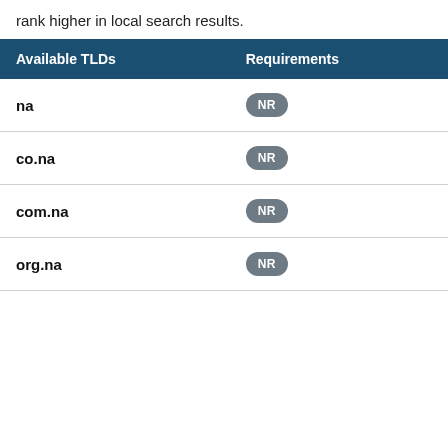rank higher in local search results.
| Available TLDs | Requirements |
| --- | --- |
| na | NR |
| co.na | NR |
| com.na | NR |
| org.na | NR |